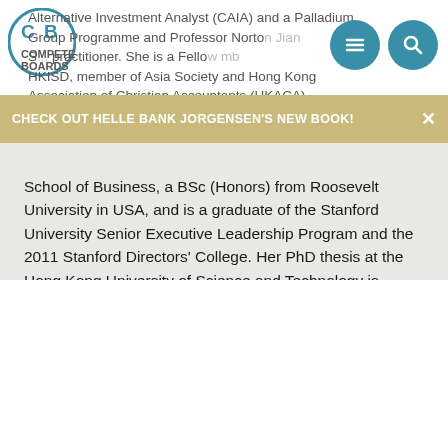Alternative Investment Analyst (CAIA) and a Palladium Group Programme and Professor Norton Jian S... practitioner. She is a Fellow mb HKISD, member of Asia Society and Hong Kong Association of Christian Accountants (HKACA).
CHECK OUT HELLE BANK JORGENSEN'S NEW BOOK!
School of Business, a BSc (Honors) from Roosevelt University in USA, and is a graduate of the Stanford University Senior Executive Leadership Program and the 2011 Stanford Directors' College. Her PhD thesis at the Hong Kong University of Science and Technology is focusing on sustainable investing. She has authored a book on investing in H-shares, a Harvard Business case and a positive psychology book 'Tall Miracles'.